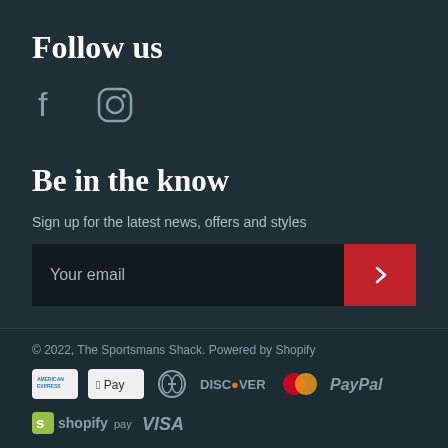Follow us
[Figure (illustration): Facebook and Instagram social media icons in grey]
Be in the know
Sign up for the latest news, offers and styles
[Figure (other): Email signup form with 'Your email' placeholder input and red submit button with right arrow]
© 2022, The Sportsmans Shack. Powered by Shopify
[Figure (other): Payment method icons: American Express, Apple Pay, Diners Club, Discover, MasterCard, PayPal, Shopify Pay, Visa]